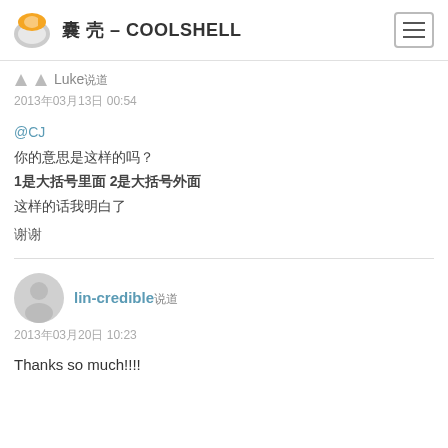酷 壳 – COOLSHELL
Luke说道
2013年03月13日 00:54
@CJ
你的意思是这样的吗？
1是大括号里面 2是大括号外面
这样的话我明白了
谢谢
lin-credible说道
2013年03月20日 10:23
Thanks so much!!!!